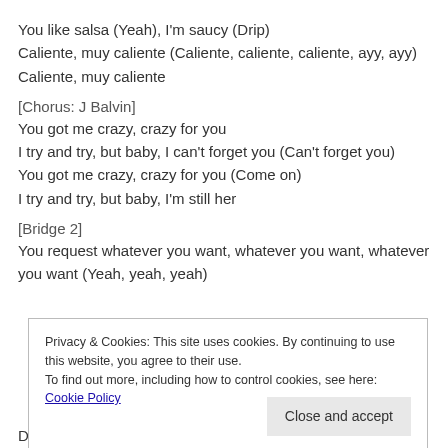You like salsa (Yeah), I'm saucy (Drip)
Caliente, muy caliente (Caliente, caliente, caliente, ayy, ayy)
Caliente, muy caliente
[Chorus: J Balvin]
You got me crazy, crazy for you
I try and try, but baby, I can't forget you (Can't forget you)
You got me crazy, crazy for you (Come on)
I try and try, but baby, I'm still her
[Bridge 2]
You request whatever you want, whatever you want, whatever you want (Yeah, yeah, yeah)
Privacy & Cookies: This site uses cookies. By continuing to use this website, you agree to their use.
To find out more, including how to control cookies, see here: Cookie Policy
DJ Snake